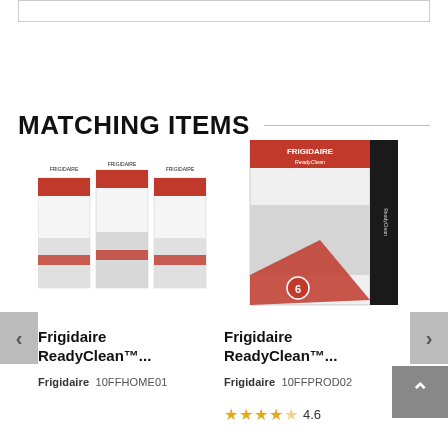MATCHING ITEMS
[Figure (photo): Three Frigidaire ReadyClean product boxes side by side]
[Figure (photo): Single Frigidaire ReadyClean product box, larger view]
Frigidaire ReadyClean™...
Frigidaire 10FFHOME01
Frigidaire ReadyClean™...
Frigidaire 10FFPROD02
4.6